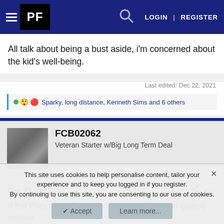PF | LOGIN | REGISTER
All talk about being a bust aside, i'm concerned about the kid's well-being.
Last edited: Dec 22, 2021
Sparky, long distance, Kenneth Sims and 6 others
FCB02062
Veteran Starter w/Big Long Term Deal
Dec 21, 2021
#66
If the Pats are flying with Slater and Olzewski getting serious
This site uses cookies to help personalise content, tailor your experience and to keep you logged in if you register.
By continuing to use this site, you are consenting to our use of cookies.
Accept
Learn more...